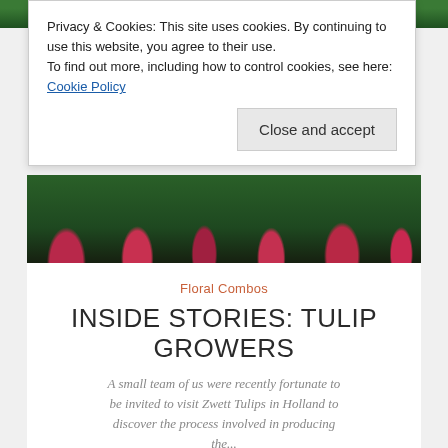[Figure (photo): Tulip photo strip at top showing pink/red tulip flowers with green leaves]
Privacy & Cookies: This site uses cookies. By continuing to use this website, you agree to their use.
To find out more, including how to control cookies, see here: Cookie Policy
Close and accept
[Figure (photo): Tulip photo strip showing dark green leaves and pink/red tulip buds]
Floral Combos
INSIDE STORIES: TULIP GROWERS
A small team of us were recently fortunate to be invited to visit Zwett Tulips in Holland to discover the process involved in producing the...